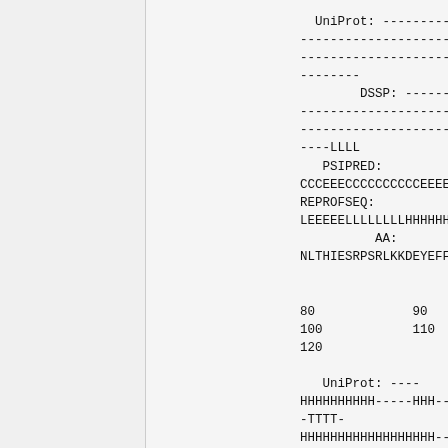UniProt: ----------
--------------------
--------------------
--------
        DSSP: ----------
--------------------
--------------------
----LLLL
   PSIPRED:
CCCEEECCCCCCCCCCEEEEEEEC
REPROFSEQ:
LEEEEELLLLLLLLLLHHHHHHLLLL
          AA:
NLTHIESRPSRLKKDEYEFFTHLD
                          70

80              90
100             110
120

  UniProt: ----
HHHHHHHHHH-----HHH---
-TTTT-
HHHHHHHHHHHHHHHHHH-----